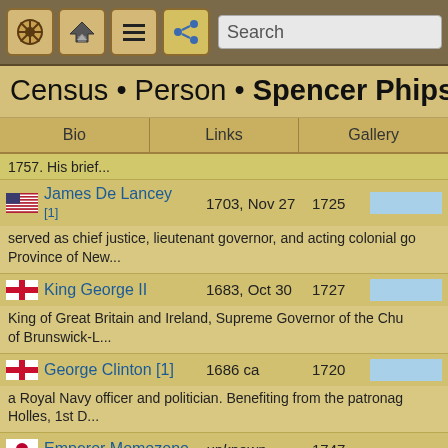[Figure (screenshot): App toolbar with navigation icons: ship wheel, home/up, menu, share buttons, and a Search bar]
Census • Person • Spencer Phips
Bio | Links | Gallery
1757. His brief...
James De Lancey [1]  1703, Nov 27  1725 — served as chief justice, lieutenant governor, and acting colonial governor of the Province of New...
King George II  1683, Oct 30  1727 — King of Great Britain and Ireland, Supreme Governor of the Church of Brunswick-L...
George Clinton [1]  1686 ca  1720 — a Royal Navy officer and politician. Benefiting from the patronage of Holles, 1st D...
Emperor Momozono  unknown  1747 — Given name: Toohito
Shingas  unknown  1740 — a leader of the Delaware (Lenape) people in the Ohio Country an...